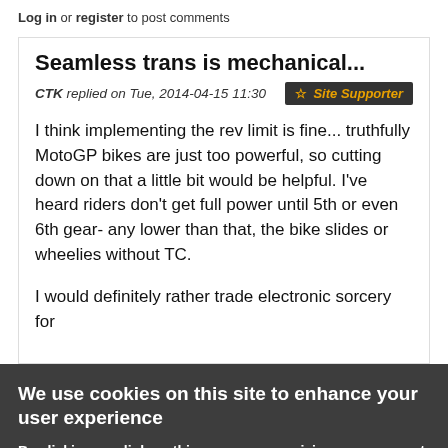Log in or register to post comments
Seamless trans is mechanical...
CTK replied on Tue, 2014-04-15 11:30
☆ Site Supporter
I think implementing the rev limit is fine... truthfully MotoGP bikes are just too powerful, so cutting down on that a little bit would be helpful. I've heard riders don't get full power until 5th or even 6th gear- any lower than that, the bike slides or wheelies without TC.
I would definitely rather trade electronic sorcery for
We use cookies on this site to enhance your user experience
By clicking any link on this page you are giving your consent for us to set cookies. No, give me more info
OK, I agree